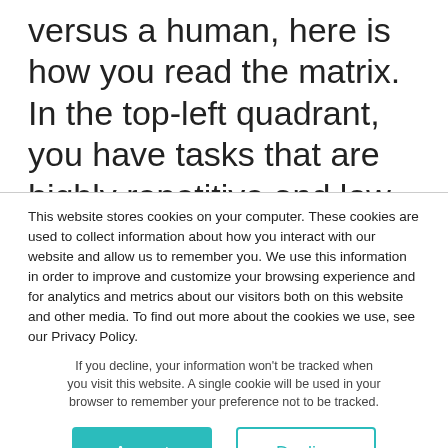versus a human, here is how you read the matrix. In the top-left quadrant, you have tasks that are highly repetitive and low on creative thinking. Those are the tasks that AI will be able to do and honestly, you should be happy to part with them. In the bottom-left quadrant are the tasks that are not repetitive but also
This website stores cookies on your computer. These cookies are used to collect information about how you interact with our website and allow us to remember you. We use this information in order to improve and customize your browsing experience and for analytics and metrics about our visitors both on this website and other media. To find out more about the cookies we use, see our Privacy Policy.
If you decline, your information won't be tracked when you visit this website. A single cookie will be used in your browser to remember your preference not to be tracked.